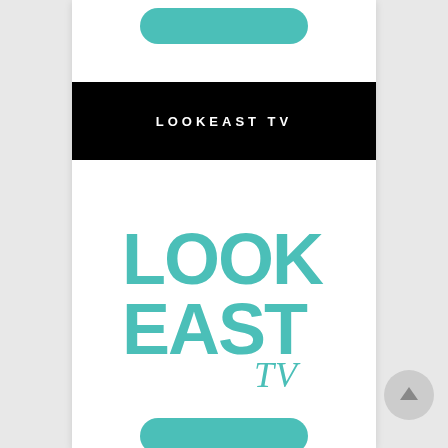[Figure (logo): Partial teal rounded button at top of card]
LOOKEAST TV
[Figure (logo): LookEast TV logo: bold teal text reading LOOK EAST on two lines with TV in cursive script to the lower right]